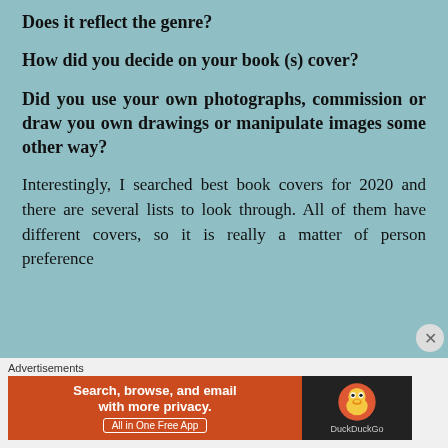Does it reflect the genre?
How did you decide on your book (s) cover?
Did you use your own photographs, commission or draw you own drawings or manipulate images some other way?
Interestingly, I searched best book covers for 2020 and there are several lists to look through. All of them have different covers, so it is really a matter of person preference
Advertisements
[Figure (other): DuckDuckGo advertisement banner: orange left side with text 'Search, browse, and email with more privacy. All in One Free App' and dark right side with DuckDuckGo duck logo]